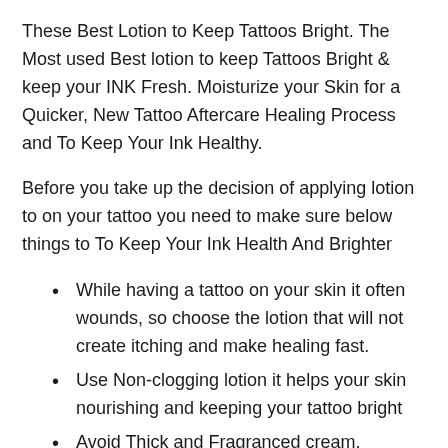These Best Lotion to Keep Tattoos Bright. The Most used Best lotion to keep Tattoos Bright & keep your INK Fresh. Moisturize your Skin for a Quicker, New Tattoo Aftercare Healing Process and To Keep Your Ink Healthy.
Before you take up the decision of applying lotion to on your tattoo you need to make sure below things to To Keep Your Ink Health And Brighter
While having a tattoo on your skin it often wounds, so choose the lotion that will not create itching and make healing fast.
Use Non-clogging lotion it helps your skin nourishing and keeping your tattoo bright
Avoid Thick and Fragranced cream.
Strongly avoid petroleum based and synthetic ingredient Lotions